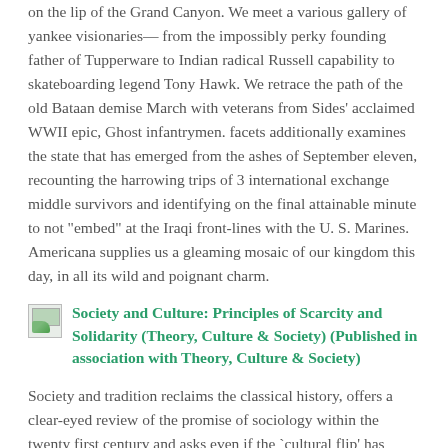on the lip of the Grand Canyon. We meet a various gallery of yankee visionaries— from the impossibly perky founding father of Tupperware to Indian radical Russell capability to skateboarding legend Tony Hawk. We retrace the path of the old Bataan demise March with veterans from Sides' acclaimed WWII epic, Ghost infantrymen. facets additionally examines the state that has emerged from the ashes of September eleven, recounting the harrowing trips of 3 international exchange middle survivors and identifying on the final attainable minute to not "embed" at the Iraqi front-lines with the U. S. Marines. Americana supplies us a gleaming mosaic of our kingdom this day, in all its wild and poignant charm.
Society and Culture: Principles of Scarcity and Solidarity (Theory, Culture & Society) (Published in association with Theory, Culture & Society)
Society and tradition reclaims the classical history, offers a clear-eyed review of the promise of sociology within the twenty first century and asks even if the `cultural flip' has made the examine of society redundant. Sociologists have objected to